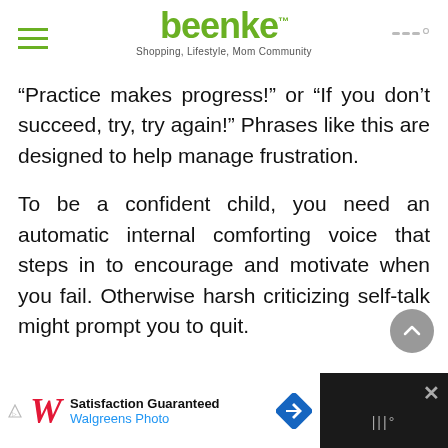beenke™ Shopping, Lifestyle, Mom Community
“Practice makes progress!” or “If you don’t succeed, try, try again!” Phrases like this are designed to help manage frustration.
To be a confident child, you need an automatic internal comforting voice that steps in to encourage and motivate when you fail. Otherwise harsh criticizing self-talk might prompt you to quit.
[Figure (other): Advertisement banner for Walgreens Photo with logo, 'Satisfaction Guaranteed' text, and navigation icon.]